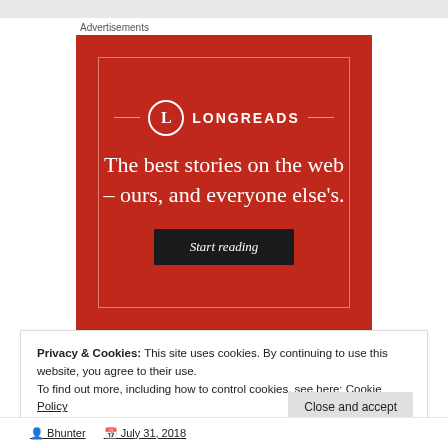Advertisements
[Figure (illustration): Longreads advertisement banner with red background. Shows the Longreads logo (circle with L), tagline 'The best stories on the web – ours, and everyone else's.' and a dark 'Start reading' button.]
Privacy & Cookies: This site uses cookies. By continuing to use this website, you agree to their use.
To find out more, including how to control cookies, see here: Cookie Policy
Close and accept
Bhunter   July 31, 2018